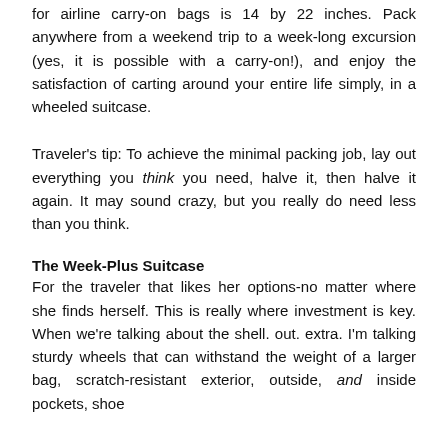for airline carry-on bags is 14 by 22 inches. Pack anywhere from a weekend trip to a week-long excursion (yes, it is possible with a carry-on!), and enjoy the satisfaction of carting around your entire life simply, in a wheeled suitcase.
Traveler's tip: To achieve the minimal packing job, lay out everything you think you need, halve it, then halve it again. It may sound crazy, but you really do need less than you think.
The Week-Plus Suitcase
For the traveler that likes her options-no matter where she finds herself. This is really where investment is key. When we're talking about the shell. out. extra. I'm talking sturdy wheels that can withstand the weight of a larger bag, scratch-resistant exterior, outside, and inside pockets, shoe